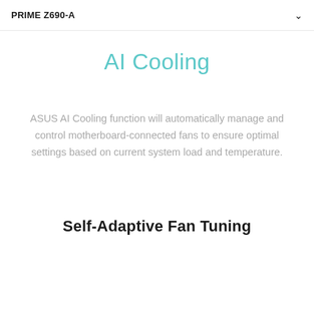PRIME Z690-A
AI Cooling
ASUS AI Cooling function will automatically manage and control motherboard-connected fans to ensure optimal settings based on current system load and temperature.
Self-Adaptive Fan Tuning